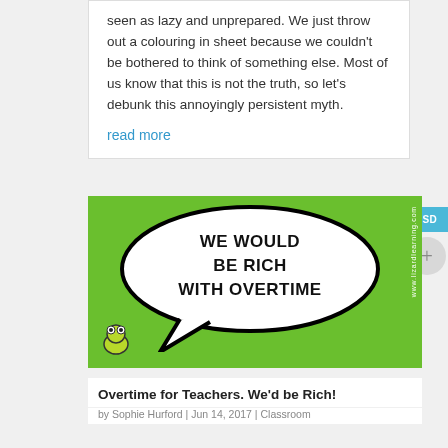seen as lazy and unprepared. We just throw out a colouring in sheet because we couldn't be bothered to think of something else. Most of us know that this is not the truth, so let's debunk this annoyingly persistent myth.
read more
[Figure (illustration): Green background image with a speech bubble containing the text 'WE WOULD BE RICH WITH OVERTIME' in bold uppercase lettering, with a small cartoon lizard/frog character in the bottom left corner and www.lizardlearning.com watermark on the right side.]
Overtime for Teachers. We'd be Rich!
by Sophie Hurford | Jun 14, 2017 | Classroom